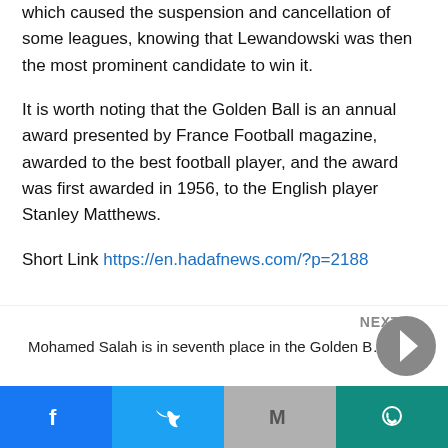which caused the suspension and cancellation of some leagues, knowing that Lewandowski was then the most prominent candidate to win it.
It is worth noting that the Golden Ball is an annual award presented by France Football magazine, awarded to the best football player, and the award was first awarded in 1956, to the English player Stanley Matthews.
Short Link https://en.hadafnews.com/?p=2188
NEXT
Mohamed Salah is in seventh place in the Golden B...
Facebook Twitter Gmail WhatsApp